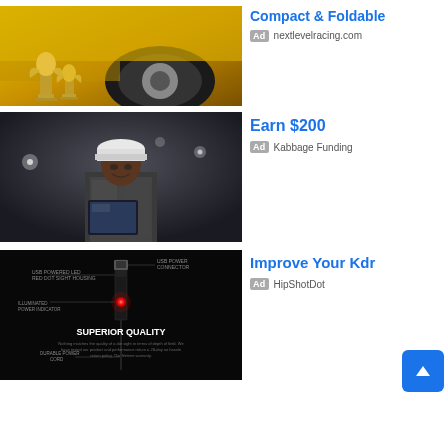[Figure (photo): Yellow sports car wheel with trophy cups in foreground]
Compact & Foldable
Ad  nextlevelracing.com
[Figure (photo): Worker in hard hat holding tablet in industrial setting]
Earn $200
Ad  Kabbage Funding
[Figure (photo): USB powered LED red dot sight housing product on black background with SUPERIOR QUALITY text]
Improve Your Kdr
Ad  HipShotDot